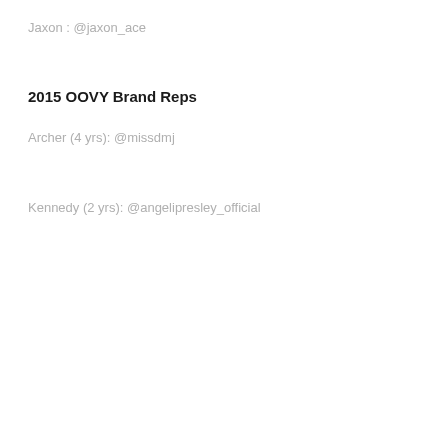Jaxon : @jaxon_ace
2015 OOVY Brand Reps
Archer (4 yrs): @missdmj
Kennedy (2 yrs): @angelipresley_official